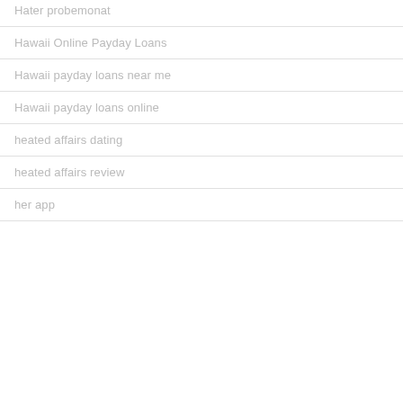Hater probemonat
Hawaii Online Payday Loans
Hawaii payday loans near me
Hawaii payday loans online
heated affairs dating
heated affairs review
her app